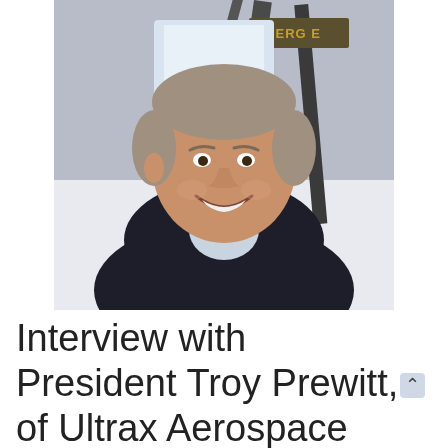[Figure (photo): Headshot photo of a middle-aged man with short grey-brown hair, smiling, wearing a dark blazer and light blue collared shirt. He is seated inside what appears to be an aircraft cockpit or emergency vehicle, with metal framework and a partial 'EMERG' label visible in the background.]
Interview with President Troy Prewitt, of Ultrax Aerospace